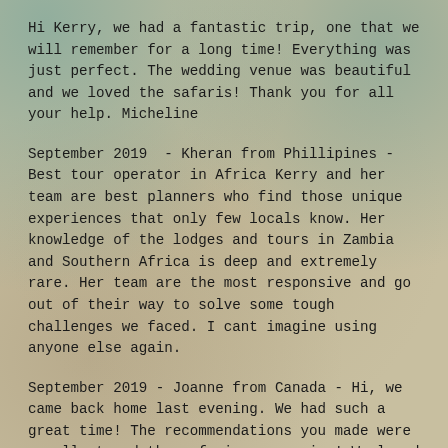Hi Kerry, we had a fantastic trip, one that we will remember for a long time! Everything was just perfect. The wedding venue was beautiful and we loved the safaris! Thank you for all your help. Micheline
September 2019  - Kheran from Phillipines - Best tour operator in Africa Kerry and her team are best planners who find those unique experiences that only few locals know. Her knowledge of the lodges and tours in Zambia and Southern Africa is deep and extremely rare. Her team are the most responsive and go out of their way to solve some tough challenges we faced. I cant imagine using anyone else again.
September 2019 - Joanne from Canada - Hi, we came back home last evening. We had such a great time! The recommendations you made were excellent and the safari was amazing! We loved the hotels, the lodges